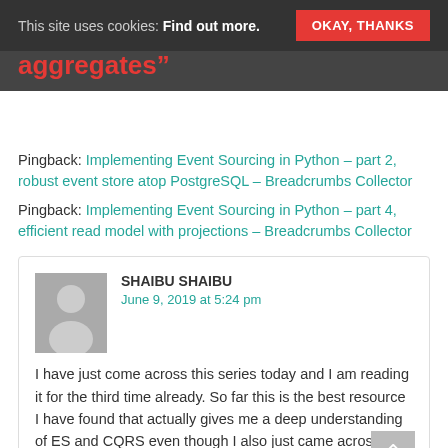This site uses cookies: Find out more. OKAY, THANKS
aggregates”
Pingback: Implementing Event Sourcing in Python – part 2, robust event store atop PostgreSQL – Breadcrumbs Collector
Pingback: Implementing Event Sourcing in Python – part 4, efficient read model with projections – Breadcrumbs Collector
SHAIBU SHAIBU
June 9, 2019 at 5:24 pm

I have just come across this series today and I am reading it for the third time already. So far this is the best resource I have found that actually gives me a deep understanding of ES and CQRS even though I also just came across them today. I am currently